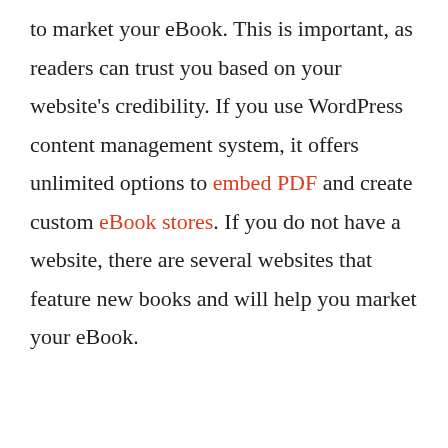to market your eBook. This is important, as readers can trust you based on your website's credibility. If you use WordPress content management system, it offers unlimited options to embed PDF and create custom eBook stores. If you do not have a website, there are several websites that feature new books and will help you market your eBook.